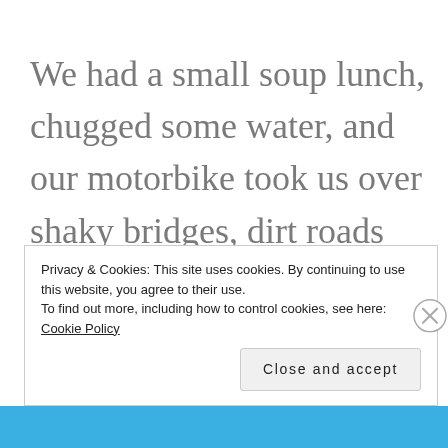We had a small soup lunch, chugged some water, and our motorbike took us over shaky bridges, dirt roads and scattered rocks. We stopped at the Mekong rapids where a shanty town
Privacy & Cookies: This site uses cookies. By continuing to use this website, you agree to their use.
To find out more, including how to control cookies, see here: Cookie Policy